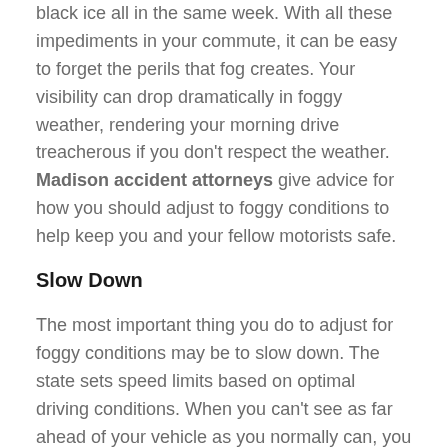black ice all in the same week. With all these impediments in your commute, it can be easy to forget the perils that fog creates. Your visibility can drop dramatically in foggy weather, rendering your morning drive treacherous if you don't respect the weather. Madison accident attorneys give advice for how you should adjust to foggy conditions to help keep you and your fellow motorists safe.
Slow Down
The most important thing you do to adjust for foggy conditions may be to slow down. The state sets speed limits based on optimal driving conditions. When you can't see as far ahead of your vehicle as you normally can, you need to reduce your speed to account for less reaction time for those ahead of you.